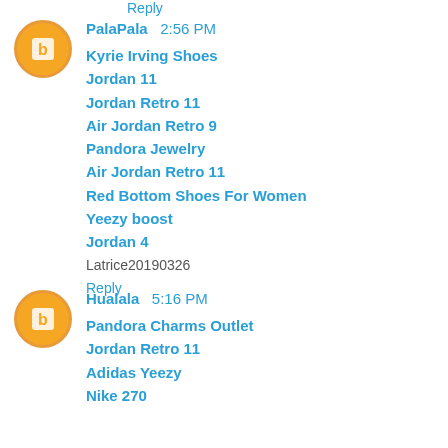Reply
PalaPala  2:56 PM
Kyrie Irving Shoes
Jordan 11
Jordan Retro 11
Air Jordan Retro 9
Pandora Jewelry
Air Jordan Retro 11
Red Bottom Shoes For Women
Yeezy boost
Jordan 4
Latrice20190326
Reply
Hualala  5:16 PM
Pandora Charms Outlet
Jordan Retro 11
Adidas Yeezy
Nike 270